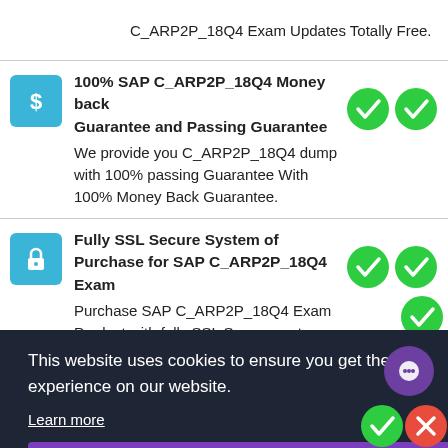C_ARP2P_18Q4 Exam Updates Totally Free.
100% SAP C_ARP2P_18Q4 Money back Guarantee and Passing Guarantee
We provide you C_ARP2P_18Q4 dump with 100% passing Guarantee With 100% Money Back Guarantee.
Fully SSL Secure System of Purchase for SAP C_ARP2P_18Q4 Exam
Purchase SAP C_ARP2P_18Q4 Exam Product with fully SSL Secure system protected with 256-bit SSL from Cloudflare
This website uses cookies to ensure you get the best experience on our website.
Learn more
Got it!
in Testing Engine